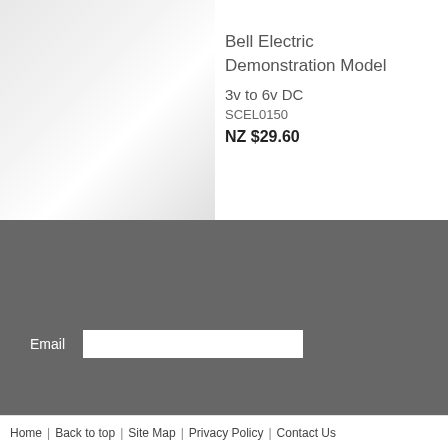[Figure (photo): Product photo area with light gray gradient background representing a product image placeholder on the left side of the page]
Bell Electric Demonstration Model
3v to 6v DC
SCEL0150
NZ $29.60
Email
Home | Back to top | Site Map | Privacy Policy | Contact Us